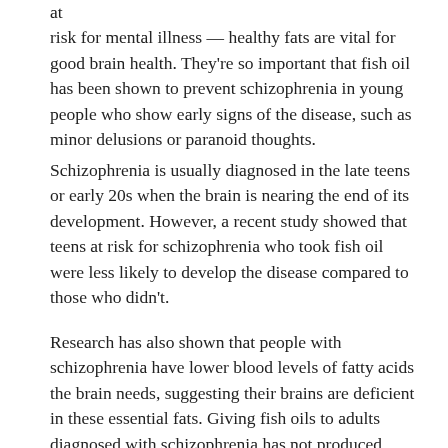at risk for mental illness — healthy fats are vital for good brain health. They're so important that fish oil has been shown to prevent schizophrenia in young people who show early signs of the disease, such as minor delusions or paranoid thoughts.
Schizophrenia is usually diagnosed in the late teens or early 20s when the brain is nearing the end of its development. However, a recent study showed that teens at risk for schizophrenia who took fish oil were less likely to develop the disease compared to those who didn't.
Research has also shown that people with schizophrenia have lower blood levels of fatty acids the brain needs, suggesting their brains are deficient in these essential fats. Giving fish oils to adults diagnosed with schizophrenia has not produced good results — it appears the key is to give fish oil to youth before it's too late, thus changing the trajectory of the disease.